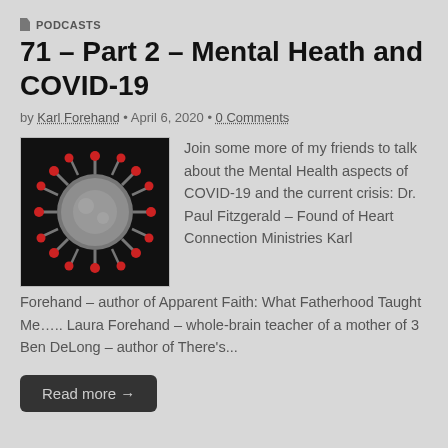PODCASTS
71 – Part 2 – Mental Heath and COVID-19
by Karl Forehand • April 6, 2020 • 0 Comments
[Figure (photo): Close-up illustration of a coronavirus particle with red spike proteins on a dark background]
Join some more of my friends to talk about the Mental Health aspects of COVID-19 and the current crisis: Dr. Paul Fitzgerald – Found of Heart Connection Ministries Karl Forehand – author of Apparent Faith: What Fatherhood Taught Me….. Laura Forehand – whole-brain teacher of a mother of 3 Ben DeLong – author of There's...
Read more →